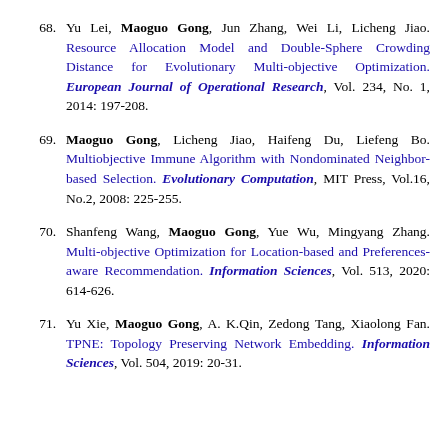68. Yu Lei, Maoguo Gong, Jun Zhang, Wei Li, Licheng Jiao. Resource Allocation Model and Double-Sphere Crowding Distance for Evolutionary Multi-objective Optimization. European Journal of Operational Research, Vol. 234, No. 1, 2014: 197-208.
69. Maoguo Gong, Licheng Jiao, Haifeng Du, Liefeng Bo. Multiobjective Immune Algorithm with Nondominated Neighbor-based Selection. Evolutionary Computation, MIT Press, Vol.16, No.2, 2008: 225-255.
70. Shanfeng Wang, Maoguo Gong, Yue Wu, Mingyang Zhang. Multi-objective Optimization for Location-based and Preferences-aware Recommendation. Information Sciences, Vol. 513, 2020: 614-626.
71. Yu Xie, Maoguo Gong, A. K.Qin, Zedong Tang, Xiaolong Fan. TPNE: Topology Preserving Network Embedding. Information Sciences, Vol. 504, 2019: 20-31.